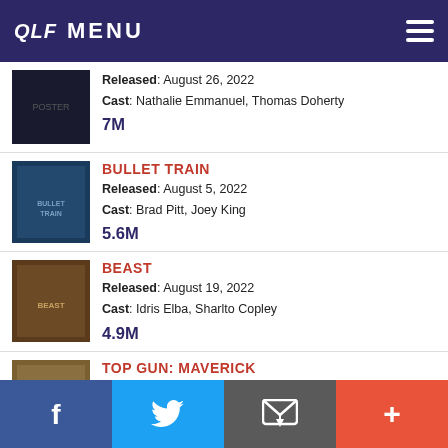QLF MENU
Released: August 26, 2022 | Cast: Nathalie Emmanuel, Thomas Doherty | Views: 7M
BULLET TRAIN | Released: August 5, 2022 | Cast: Brad Pitt, Joey King | Views: 5.6M
BEAST | Released: August 19, 2022 | Cast: Idris Elba, Sharlto Copley | Views: 4.9M
TOP GUN: MAVERICK | Released: May 27, 2022 | Cast: Tom Cruise, Miles Teller | Views: 4.8M
Facebook | Twitter | Email | Plus